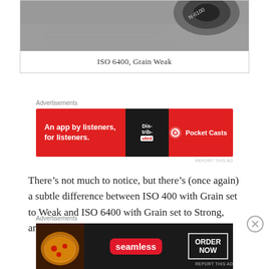[Figure (photo): Black and white close-up photo of a camera lens and film/paper with text, cropped at top]
ISO 6400, Grain Weak
Advertisements
[Figure (other): Pocket Casts advertisement banner: 'An app by listeners, for listeners.' with red background, phone graphic, and Pocket Casts logo]
REPORT THIS AD
There’s not much to notice, but there’s (once again) a subtle difference between ISO 400 with Grain set to Weak and ISO 6400 with Grain set to Strong, and you’re not likely to
Advertisements
[Figure (other): Seamless food delivery advertisement banner with pizza image, Seamless logo, and ORDER NOW button on dark background]